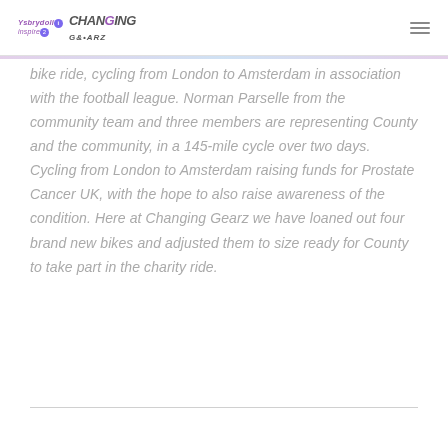Ysbrydoli Inspire | Changing Gearz
bike ride, cycling from London to Amsterdam in association with the football league. Norman Parselle from the community team and three members are representing County and the community, in a 145-mile cycle over two days. Cycling from London to Amsterdam raising funds for Prostate Cancer UK, with the hope to also raise awareness of the condition. Here at Changing Gearz we have loaned out four brand new bikes and adjusted them to size ready for County to take part in the charity ride.